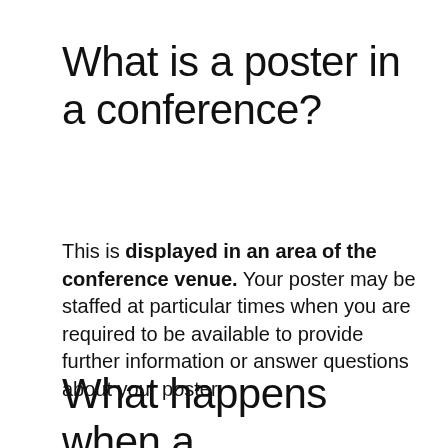What is a poster in a conference?
This is displayed in an area of the conference venue. Your poster may be staffed at particular times when you are required to be available to provide further information or answer questions about your poster.
What happens when a presentation does